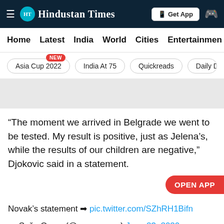Hindustan Times
Home | Latest | India | World | Cities | Entertainment
Asia Cup 2022 NEW | India At 75 | Quickreads | Daily Dige
[Figure (other): Grey ad banner placeholder]
“The moment we arrived in Belgrade we went to be tested. My result is positive, just as Jelena’s, while the results of our children are negative,” Djokovic said in a statement.
Novak’s statement ➡ pic.twitter.com/SZhRH1Bifn
— Saša Ozmo (@ozmo_sasa) June 23, 2020